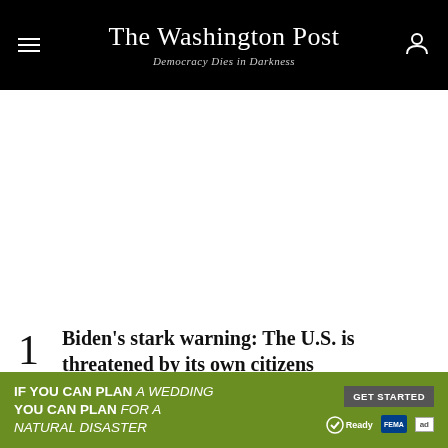The Washington Post — Democracy Dies in Darkness
[Figure (other): Large white advertisement space placeholder area]
Biden's stark warning: The U.S. is threatened by its own citizens
[Figure (infographic): Green advertisement banner: IF YOU CAN PLAN A WEDDING YOU CAN PLAN FOR A NATURAL DISASTER — GET STARTED — Ready FEMA ad]